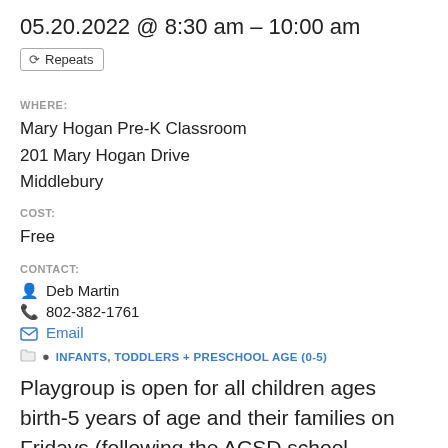05.20.2022 @ 8:30 am – 10:00 am
Repeats
WHERE:
Mary Hogan Pre-K Classroom
201 Mary Hogan Drive
Middlebury
COST:
Free
CONTACT:
Deb Martin
802-382-1761
Email
INFANTS, TODDLERS + PRESCHOOL AGE (0-5)
Playgroup is open for all children ages birth-5 years of age and their families on Fridays (following the ACSD school calendar). A light snack will be provided. Please call or email Deb for more information.